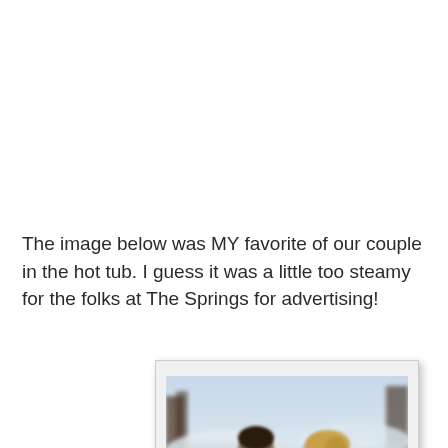The image below was MY favorite of our couple in the hot tub.  I guess it was a little too steamy for the folks at The Springs for advertising!
[Figure (photo): A couple in a steamy hot tub outdoors in a snowy winter setting, leaning toward each other romantically, with steam rising around them and a blurred snowy background.]